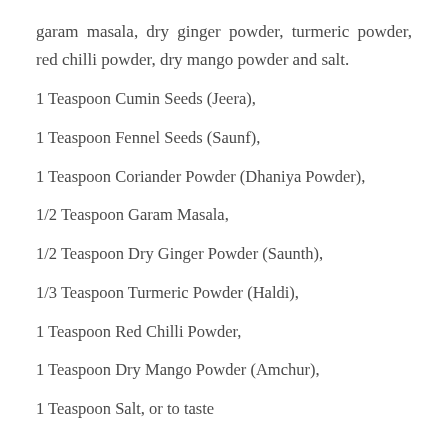garam masala, dry ginger powder, turmeric powder, red chilli powder, dry mango powder and salt.
1 Teaspoon Cumin Seeds (Jeera),
1 Teaspoon Fennel Seeds (Saunf),
1 Teaspoon Coriander Powder (Dhaniya Powder),
1/2 Teaspoon Garam Masala,
1/2 Teaspoon Dry Ginger Powder (Saunth),
1/3 Teaspoon Turmeric Powder (Haldi),
1 Teaspoon Red Chilli Powder,
1 Teaspoon Dry Mango Powder (Amchur),
1 Teaspoon Salt, or to taste